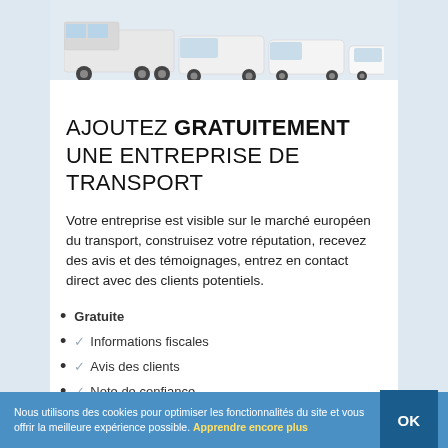[Figure (photo): Fleet of white commercial vehicles including a large truck, vans and smaller vehicles on a light grey background]
AJOUTEZ GRATUITEMENT UNE ENTREPRISE DE TRANSPORT
Votre entreprise est visible sur le marché européen du transport, construisez votre réputation, recevez des avis et des témoignages, entrez en contact direct avec des clients potentiels.
Gratuite
✓ Informations fiscales
✓ Avis des clients
✓ Note de confiance
Nous utilisons des cookies pour optimiser les fonctionnalités du site et vous offrir la meilleure expérience possible. Apprendre encore plus  OK